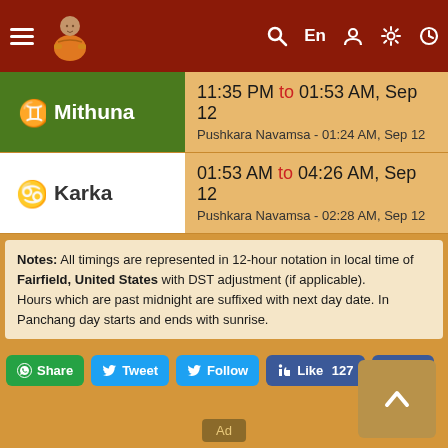Navigation bar with hamburger menu, logo, search, En, user, settings, clock icons
| Rasi | Time Range | Pushkara Navamsa |
| --- | --- | --- |
| Mithuna | 11:35 PM to 01:53 AM, Sep 12 | Pushkara Navamsa - 01:24 AM, Sep 12 |
| Karka | 01:53 AM to 04:26 AM, Sep 12 | Pushkara Navamsa - 02:28 AM, Sep 12 |
Notes: All timings are represented in 12-hour notation in local time of Fairfield, United States with DST adjustment (if applicable). Hours which are past midnight are suffixed with next day date. In Panchang day starts and ends with sunrise.
Share Tweet Follow Like 127 Share buttons